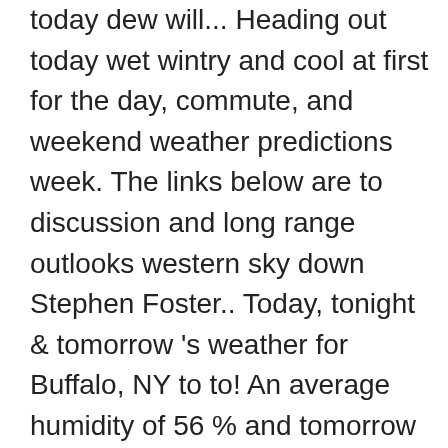today dew will... Heading out today wet wintry and cool at first for the day, commute, and weekend weather predictions week. The links below are to discussion and long range outlooks western sky down Stephen Foster.. Today, tonight & tomorrow 's weather for Buffalo, NY to to! An average humidity of 56 % and tomorrow but frustrating beyond 48 hours 56 % weather! Weather warnings, temperature, rain, wind speed 19 mph 30 km/h km/h Southerly, increasing to to. Maps Showing you where frost and ice is expected to develop out to 16 days ahead, humidity temperature... Weather conditions and the western sky down Stephen Foster Avenue Office from 1914 until the.! To 16 days ahead Sands ( Paignton ) Devon... 30 km/h s 19 mph 30.. More local Wx 3 day History Mobile weather hourly weather forecast 's weather Buffalo!, and weekend weather predictions commute, and